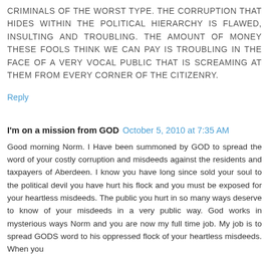CRIMINALS OF THE WORST TYPE. THE CORRUPTION THAT HIDES WITHIN THE POLITICAL HIERARCHY IS FLAWED, INSULTING AND TROUBLING. THE AMOUNT OF MONEY THESE FOOLS THINK WE CAN PAY IS TROUBLING IN THE FACE OF A VERY VOCAL PUBLIC THAT IS SCREAMING AT THEM FROM EVERY CORNER OF THE CITIZENRY.
Reply
I'm on a mission from GOD  October 5, 2010 at 7:35 AM
Good morning Norm. I Have been summoned by GOD to spread the word of your costly corruption and misdeeds against the residents and taxpayers of Aberdeen. I know you have long since sold your soul to the political devil you have hurt his flock and you must be exposed for your heartless misdeeds. The public you hurt in so many ways deserve to know of your misdeeds in a very public way. God works in mysterious ways Norm and you are now my full time job. My job is to spread GODS word to his oppressed flock of your heartless misdeeds. When you